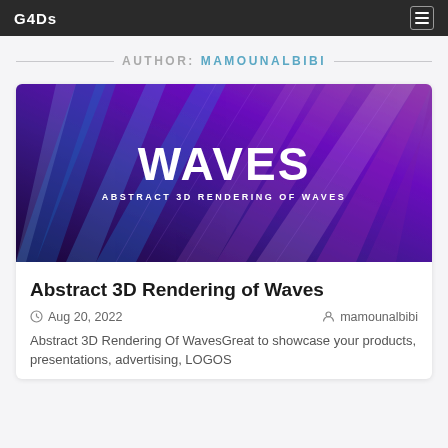G4DS
AUTHOR: MAMOUNALBIBI
[Figure (illustration): Abstract 3D rendering of waves with blue and purple diagonal streaks on dark background. Text 'WAVES' and subtitle 'ABSTRACT 3D RENDERING OF WAVES' overlaid in white.]
Abstract 3D Rendering of Waves
Aug 20, 2022   mamounalbibi
Abstract 3D Rendering Of WavesGreat to showcase your products, presentations, advertising, LOGOS